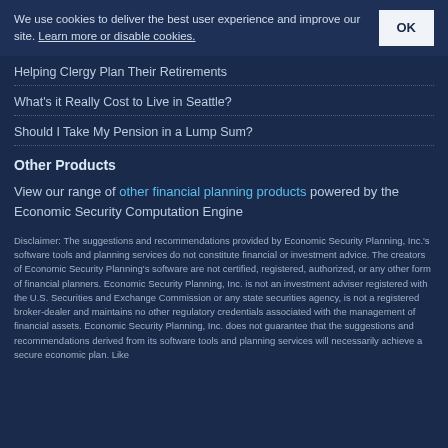We use cookies to deliver the best user experience and improve our site. Learn more or disable cookies. OK
Helping Clergy Plan Their Retirements
What's it Really Cost to Live in Seattle?
Should I Take My Pension in a Lump Sum?
Other Products
View our range of other financial planning products powered by the Economic Security Computation Engine
Disclaimer: The suggestions and recommendations provided by Economic Security Planning, Inc.'s software tools and planning services do not constitute financial or investment advice. The creators of Economic Security Planning's software are not certified, registered, authorized, or any other form of financial planners. Economic Security Planning, Inc. is not an investment adviser registered with the U.S. Securities and Exchange Commission or any state securities agency, is not a registered broker-dealer and maintains no other regulatory credentials associated with the management of financial assets. Economic Security Planning, Inc. does not guarantee that the suggestions and recommendations derived from its software tools and planning services will necessarily achieve a secure economic plan. Like